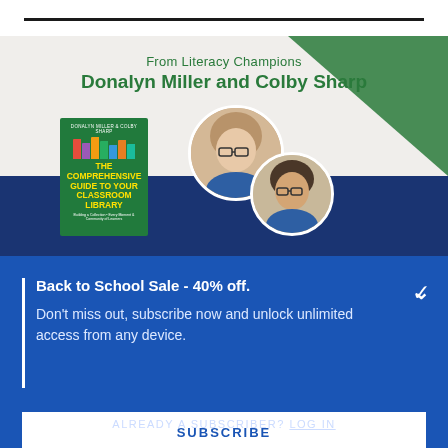[Figure (illustration): Book advertisement image featuring a book titled 'The Comprehensive Guide to Your Classroom Library' with colorful book spines on the cover, and two circular author photos (a woman with glasses and a man with glasses), set against a light background with a green triangle shape and navy blue band at bottom.]
From Literacy Champions
Donalyn Miller and Colby Sharp
Back to School Sale - 40% off.
Don't miss out, subscribe now and unlock unlimited access from any device.
SUBSCRIBE
ALREADY A SUBSCRIBER? LOG IN